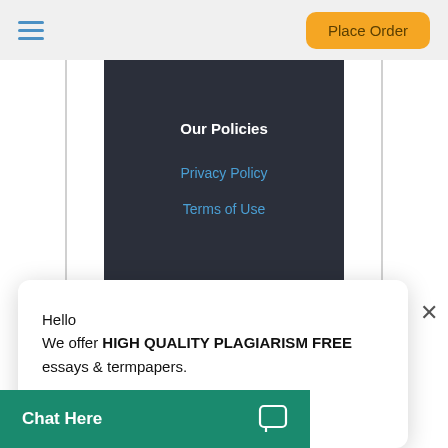Place Order
Our Policies
Privacy Policy
Terms of Use
Hello
We offer HIGH QUALITY PLAGIARISM FREE essays & termpapers.

Chat...
Chat Here